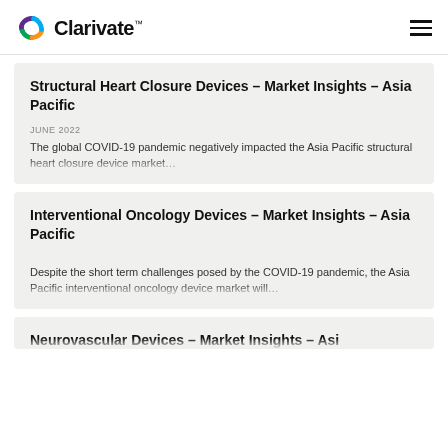Clarivate
Structural Heart Closure Devices – Market Insights – Asia Pacific
JUNE 2022
The global COVID-19 pandemic negatively impacted the Asia Pacific structural heart closure device market…
Interventional Oncology Devices – Market Insights – Asia Pacific
Despite the short term challenges posed by the COVID-19 pandemic, the Asia Pacific interventional oncology device market will…
Neurovascular Devices – Market Insights – Asia Pacific